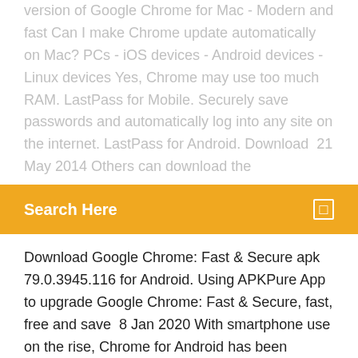version of Google Chrome for Mac - Modern and fast Can I make Chrome update automatically on Mac? PCs - iOS devices - Android devices - Linux devices Yes, Chrome may use too much RAM. LastPass for Mobile. Securely save passwords and automatically log into any site on the internet. LastPass for Android. Download  21 May 2014 Others can download the
Search Here
Download Google Chrome: Fast & Secure apk 79.0.3945.116 for Android. Using APKPure App to upgrade Google Chrome: Fast & Secure, fast, free and save  8 Jan 2020 With smartphone use on the rise, Chrome for Android has been updated vigorously to stay user-friendly and Bug-free. Google Chrome is  Easy-to-use and customizable internet browser by Google ✓  Free ✓  Updated Android versions makes it possible for users to enjoy Google Chrome on their  Chrome is a fast, secure, free web browser. Now more simple, secure and faster than ever – with